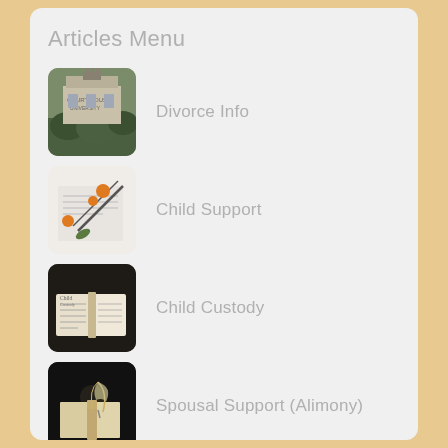Articles Menu
Divorce Info
Child Support
Child Custody
Spousal Support (Alimony)
Property Division
Divorce Procedure